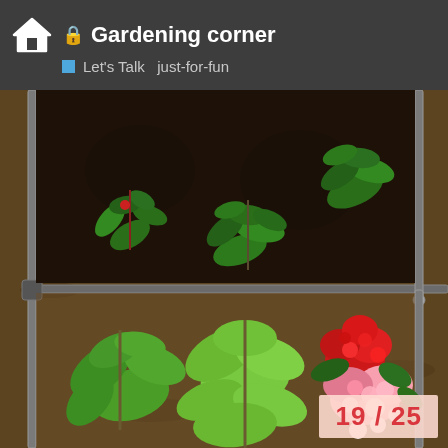🔒 Gardening corner — Let's Talk  just-for-fun
[Figure (photo): Overhead view of a raised garden bed with metal frame, showing green leafy plants and red and pink flowers on mulch ground]
19 / 25